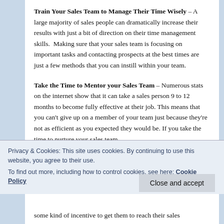Train Your Sales Team to Manage Their Time Wisely – A large majority of sales people can dramatically increase their results with just a bit of direction on their time management skills. Making sure that your sales team is focusing on important tasks and contacting prospects at the best times are just a few methods that you can instill within your team.
Take the Time to Mentor your Sales Team – Numerous stats on the internet show that it can take a sales person 9 to 12 months to become fully effective at their job. This means that you can't give up on a member of your team just because they're not as efficient as you expected they would be. If you take the time to nurture your sales team
Privacy & Cookies: This site uses cookies. By continuing to use this website, you agree to their use.
To find out more, including how to control cookies, see here: Cookie Policy
some kind of incentive to get them to reach their sales